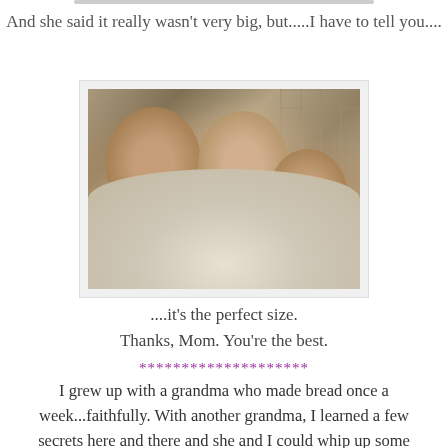And she said it really wasn't very big, but.....I have to tell you....
[Figure (photo): A woman and two children snuggled together under a large fluffy cream-colored blanket, smiling at the camera. The background has shoji screen panels.]
....it's the perfect size.
Thanks, Mom. You're the best.
********************
I grew up with a grandma who made bread once a week...faithfully. With another grandma, I learned a few secrets here and there and she and I could whip up some damn good cinnamon rolls when we wanted to. I loved the